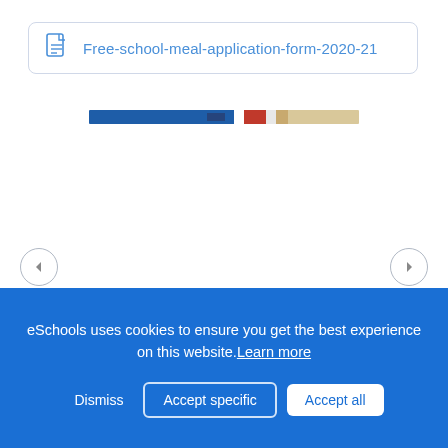Free-school-meal-application-form-2020-21
[Figure (screenshot): Thin horizontal strip preview of the PDF document, showing blue, red, white, and beige color bands]
eSchools uses cookies to ensure you get the best experience on this website. Learn more
Dismiss | Accept specific | Accept all